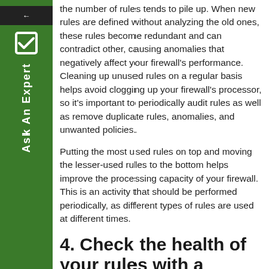the number of rules tends to pile up. When new rules are defined without analyzing the old ones, these rules become redundant and can contradict other, causing anomalies that negatively affect your firewall's performance. Cleaning up unused rules on a regular basis helps avoid clogging up your firewall's processor, so it's important to periodically audit rules as well as remove duplicate rules, anomalies, and unwanted policies.
Putting the most used rules on top and moving the lesser-used rules to the bottom helps improve the processing capacity of your firewall. This is an activity that should be performed periodically, as different types of rules are used at different times.
4. Check the health of your rules with a penetration test.
A penetration test is a simulated cyber attack against your computer system that checks for exploitable vulnerabilities. Just like how cars undergo crash tests to detect holes in the safety design, periodic penetration tests on your firewall will help you identify areas in your network's security that are vulnerable.
5. Automate security audits